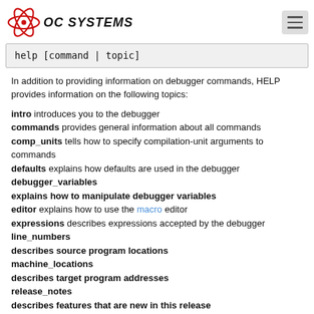OC SYSTEMS
help [command | topic]
In addition to providing information on debugger commands, HELP provides information on the following topics:
intro introduces you to the debugger
commands provides general information about all commands
comp_units tells how to specify compilation-unit arguments to commands
defaults explains how defaults are used in the debugger
debugger_variables explains how to manipulate debugger variables
editor explains how to use the macro editor
expressions describes expressions accepted by the debugger
line_numbers describes source program locations
machine_locations describes target program addresses
release_notes describes features that are new in this release
statements describes structured statements